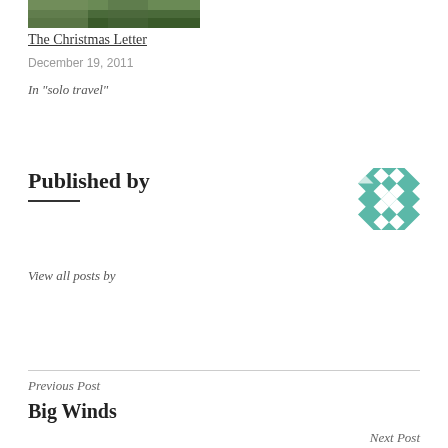[Figure (photo): A small thumbnail photo showing trees/nature, cropped at top]
The Christmas Letter
December 19, 2011
In "solo travel"
Published by
[Figure (logo): Teal/green geometric quilt-pattern square logo]
View all posts by
Previous Post
Big Winds
Next Post